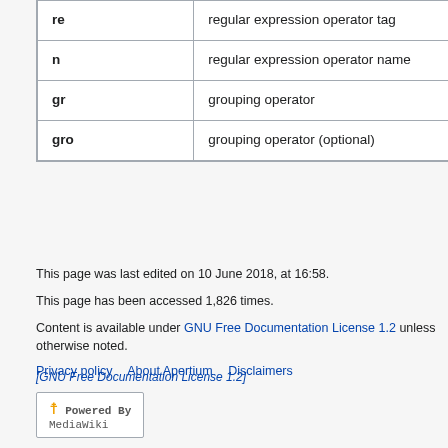| re | regular expression operator tag |
| n | regular expression operator name |
| gr | grouping operator |
| gro | grouping operator (optional) |
This page was last edited on 10 June 2018, at 16:58.
This page has been accessed 1,826 times.
Content is available under GNU Free Documentation License 1.2 unless otherwise noted.
Privacy policy   About Apertium   Disclaimers
[Figure (logo): GNU Free Documentation License 1.2 badge]
[Figure (logo): Powered by MediaWiki logo]